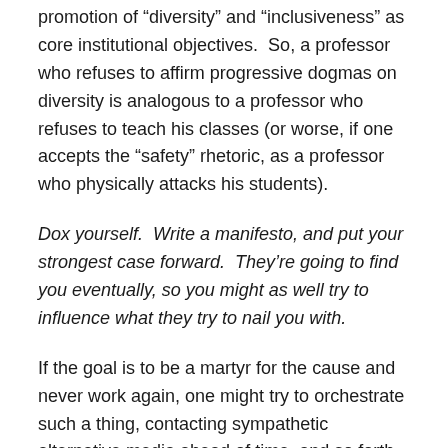promotion of “diversity” and “inclusiveness” as core institutional objectives.  So, a professor who refuses to affirm progressive dogmas on diversity is analogous to a professor who refuses to teach his classes (or worse, if one accepts the “safety” rhetoric, as a professor who physically attacks his students).
Dox yourself.  Write a manifesto, and put your strongest case forward.  They’re going to find you eventually, so you might as well try to influence what they try to nail you with.
If the goal is to be a martyr for the cause and never work again, one might try to orchestrate such a thing, contacting sympathetic alternative media ahead of time, and so forth.  Realistically, agonizing over the perfectly crafted manifesto won’t lead to a much different outcome than being busted over a quick ill-considered tweet.  Remember, the